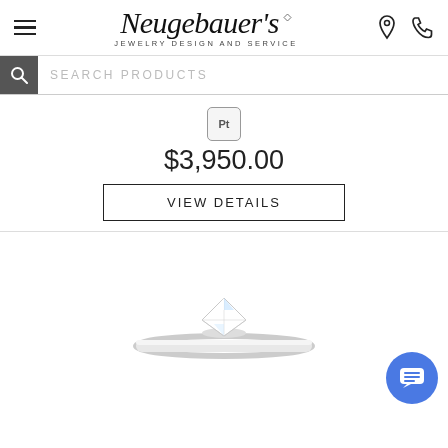[Figure (logo): Neugebauer's Jewelry Design and Service logo with decorative italic script text and small diamond icon]
SEARCH PRODUCTS
[Figure (other): Platinum (Pt) badge icon — small rounded rectangle with Pt text]
$3,950.00
VIEW DETAILS
[Figure (photo): Diamond solitaire engagement ring with cushion-cut diamond on a thin platinum band, photographed from a slight angle on white background]
[Figure (other): Blue circular chat/message button with speech bubble lines icon in bottom right corner]